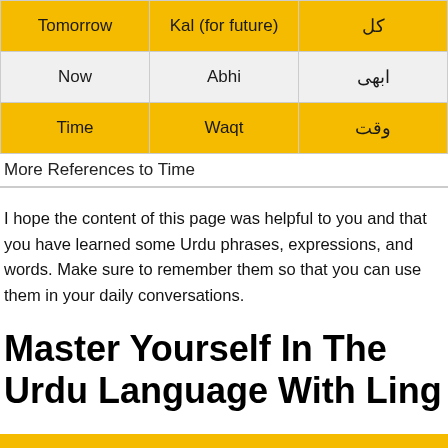| Tomorrow | Kal (for future) | کل |
| --- | --- | --- |
| Now | Abhi | ابھی |
| Time | Waqt | وقت |
More References to Time
I hope the content of this page was helpful to you and that you have learned some Urdu phrases, expressions, and words. Make sure to remember them so that you can use them in your daily conversations.
Master Yourself In The Urdu Language With Ling